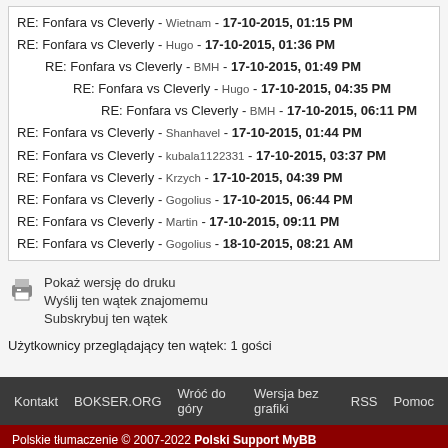RE: Fonfara vs Cleverly - Wietnam - 17-10-2015, 01:15 PM
RE: Fonfara vs Cleverly - Hugo - 17-10-2015, 01:36 PM
RE: Fonfara vs Cleverly - BMH - 17-10-2015, 01:49 PM
RE: Fonfara vs Cleverly - Hugo - 17-10-2015, 04:35 PM
RE: Fonfara vs Cleverly - BMH - 17-10-2015, 06:11 PM
RE: Fonfara vs Cleverly - Shanhavel - 17-10-2015, 01:44 PM
RE: Fonfara vs Cleverly - kubala1122331 - 17-10-2015, 03:37 PM
RE: Fonfara vs Cleverly - Krzych - 17-10-2015, 04:39 PM
RE: Fonfara vs Cleverly - Gogolius - 17-10-2015, 06:44 PM
RE: Fonfara vs Cleverly - Martin - 17-10-2015, 09:11 PM
RE: Fonfara vs Cleverly - Gogolius - 18-10-2015, 08:21 AM
Pokaż wersję do druku
Wyślij ten wątek znajomemu
Subskrybuj ten wątek
Użytkownicy przeglądający ten wątek: 1 gości
Kontakt BOKSER.ORG Wróć do góry Wersja bez grafiki RSS Pomoc
Polskie tłumaczenie © 2007-2022 Polski Support MyBB Silnik forum MyBB 1.6.10, © 2002-2022 MyBB Group. Theme created by Justin S.